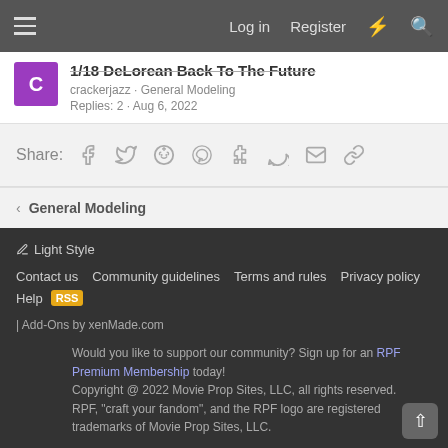Log in · Register
1/18 DeLorean Back To The Future
crackerjazz · General Modeling
Replies: 2 · Aug 6, 2022
Share:
< General Modeling
✏ Light Style
Contact us   Community guidelines   Terms and rules   Privacy policy   Help
| Add-Ons by xenMade.com
Would you like to support our community? Sign up for an RPF Premium Membership today!
Copyright @ 2022 Movie Prop Sites, LLC, all rights reserved.
RPF, "craft your fandom", and the RPF logo are registered trademarks of Movie Prop Sites, LLC.